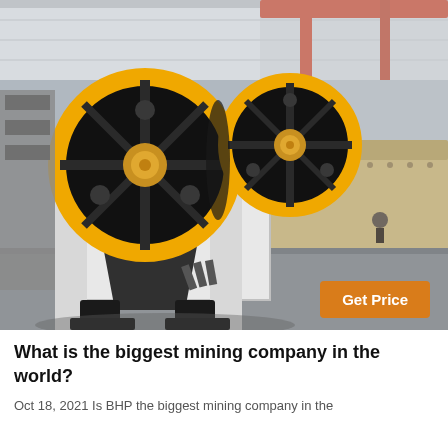[Figure (photo): Industrial jaw crusher machine with large black and yellow flywheels, white painted steel frame, photographed in a factory/warehouse setting with red overhead cranes and large industrial equipment in background.]
Get Price
What is the biggest mining company in the world?
Oct 18, 2021 Is BHP the biggest mining company in the